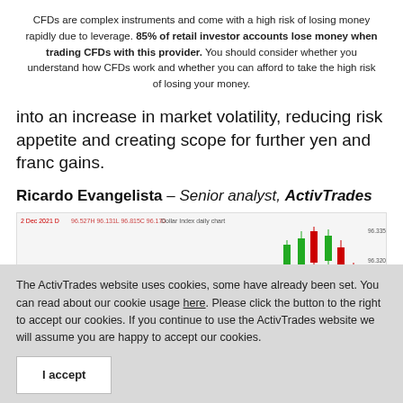CFDs are complex instruments and come with a high risk of losing money rapidly due to leverage. 85% of retail investor accounts lose money when trading CFDs with this provider. You should consider whether you understand how CFDs work and whether you can afford to take the high risk of losing your money.
into an increase in market volatility, reducing risk appetite and creating scope for further yen and franc gains.
Ricardo Evangelista – Senior analyst, ActivTrades
[Figure (screenshot): Dollar Index daily chart candlestick chart showing price action around 96.305-96.355 range with green and red candlesticks. Header text: 2 Dec 2021 D, various OHLC values shown in red/green. Title: Dollar Index daily chart]
The ActivTrades website uses cookies, some have already been set. You can read about our cookie usage here. Please click the button to the right to accept our cookies. If you continue to use the ActivTrades website we will assume you are happy to accept our cookies.
I accept